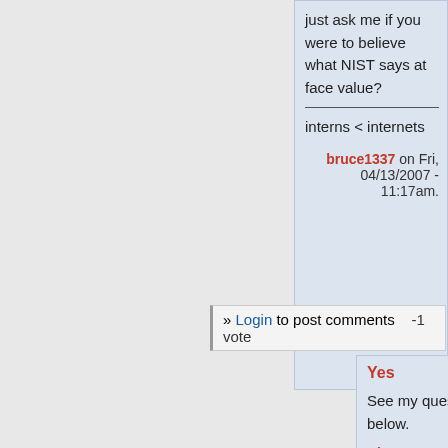just ask me if you were to believe what NIST says at face value?
---
interns < internets
bruce1337 on Fri, 04/13/2007 - 11:17am.
» Login to post comments   -1 vote
Yes
See my question below.
Ningen on